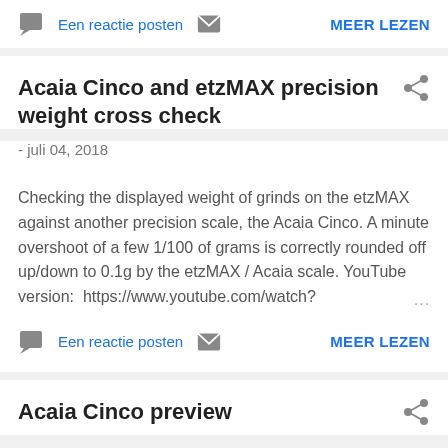Een reactie posten   MEER LEZEN
Acaia Cinco and etzMAX precision weight cross check
- juli 04, 2018
Checking the displayed weight of grinds on the etzMAX against another precision scale, the Acaia Cinco. A minute overshoot of a few 1/100 of grams is correctly rounded off up/down to 0.1g by the etzMAX / Acaia scale. YouTube version:  https://www.youtube.com/watch?
Een reactie posten   MEER LEZEN
Acaia Cinco preview